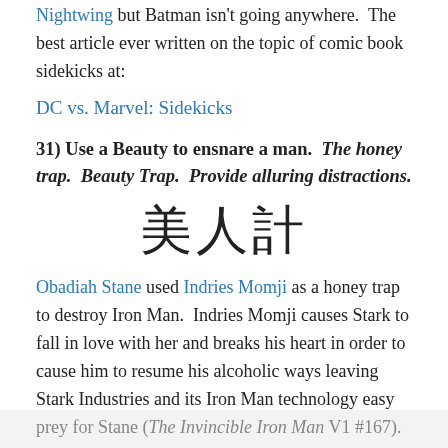Nightwing but Batman isn't going anywhere.  The best article ever written on the topic of comic book sidekicks at:
DC vs. Marvel: Sidekicks
31) Use a Beauty to ensnare a man.  The honey trap.  Beauty Trap.  Provide alluring distractions.
[Figure (other): Chinese characters: 美人計 (Beauty Trap)]
Obadiah Stane used Indries Momji as a honey trap to destroy Iron Man.  Indries Momji causes Stark to fall in love with her and breaks his heart in order to cause him to resume his alcoholic ways leaving Stark Industries and its Iron Man technology easy prey for Stane (The Invincible Iron Man V1 #167).
[Figure (photo): Partially visible image at the bottom of the page]